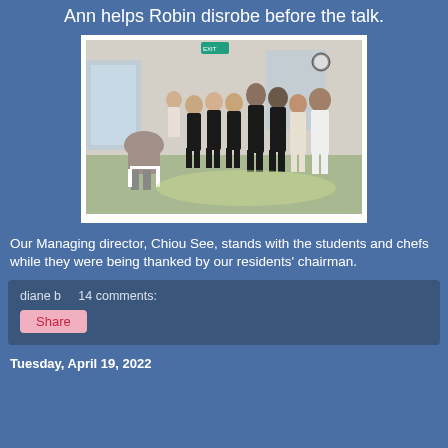Ann helps Robin disrobe before the talk.
[Figure (photo): Group of people standing in a room — students and chefs in black uniforms with a woman in a light dress and a man in a white chef's coat, facing a seated person with their back to the camera.]
Our Managing director, Chiou See, stands with the students and chefs while they were being thanked by our residents' chairman.
diane b    14 comments:
Share
Tuesday, April 19, 2022